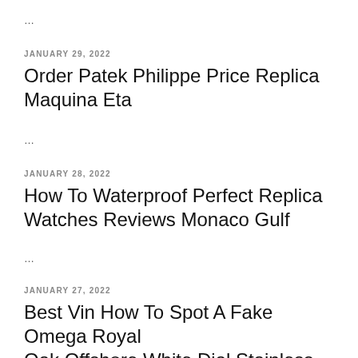...
JANUARY 29, 2022
Order Patek Philippe Price Replica Maquina Eta
...
JANUARY 28, 2022
How To Waterproof Perfect Replica Watches Reviews Monaco Gulf
...
JANUARY 27, 2022
Best Vin How To Spot A Fake Omega Royal Oak Offshore White Dial Stainless Steel